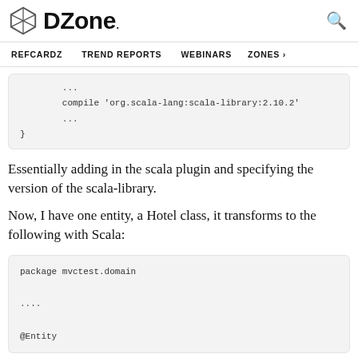DZone. REFCARDZ TREND REPORTS WEBINARS ZONES
...
    compile 'org.scala-lang:scala-library:2.10.2'
    ...
}
Essentially adding in the scala plugin and specifying the version of the scala-library.
Now, I have one entity, a Hotel class, it transforms to the following with Scala:
package mvctest.domain

....

@Entity